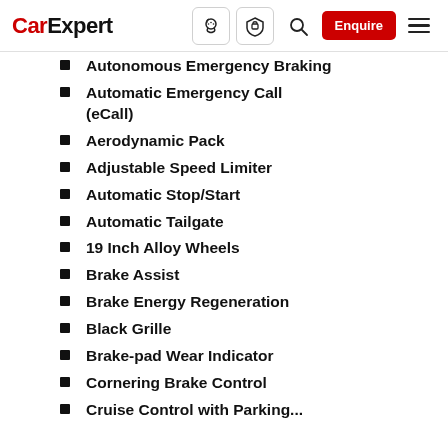CarExpert
Autonomous Emergency Braking
Automatic Emergency Call (eCall)
Aerodynamic Pack
Adjustable Speed Limiter
Automatic Stop/Start
Automatic Tailgate
19 Inch Alloy Wheels
Brake Assist
Brake Energy Regeneration
Black Grille
Brake-pad Wear Indicator
Cornering Brake Control
Cruise Control with Parking...